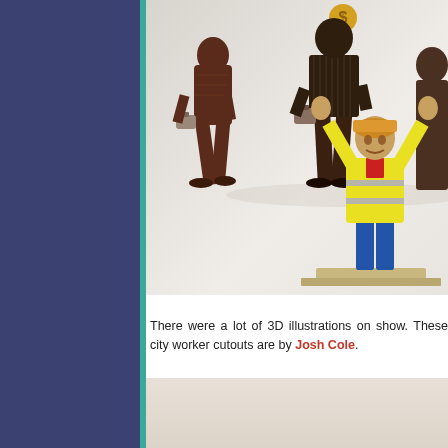[Figure (photo): Photograph of 3D city worker cutout illustrations on a glass shelf display. Upper shelf shows dark silhouette-style figures of suited businessmen carrying briefcases. Lower area shows a colourful yellow-jacketed construction worker figure with arms raised, on a wooden base. The scene is set against a white/light grey background with a glass shelf visible.]
There were a lot of 3D illustrations on show. These city worker cutouts are by Josh Cole.
[Figure (photo): Partial view of another photograph at the bottom of the page, showing a light pinkish-beige background, cut off.]